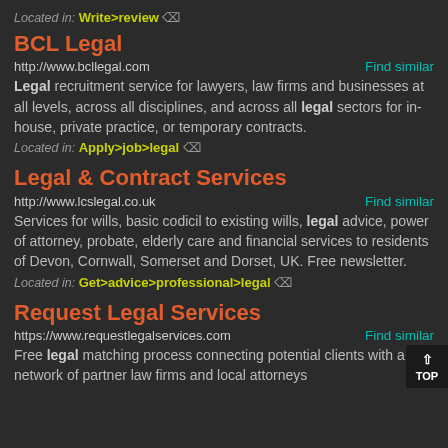Located in: Write>review
BCL Legal
http://www.bcllegal.com    Find similar
Legal recruitment service for lawyers, law firms and businesses at all levels, across all disciplines, and across all legal sectors for in-house, private practice, or temporary contracts.
Located in: Apply>job>legal
Legal & Contract Services
http://www.lcslegal.co.uk    Find similar
Services for wills, basic codicil to existing wills, legal advice, power of attorney, probate, elderly care and financial services to residents of Devon, Cornwall, Somerset and Dorset, UK. Free newsletter.
Located in: Get>advice>professional>legal
Request Legal Services
https://www.requestlegalservices.com    Find similar
Free legal matching process connecting potential clients with a network of partner law firms and local attorneys